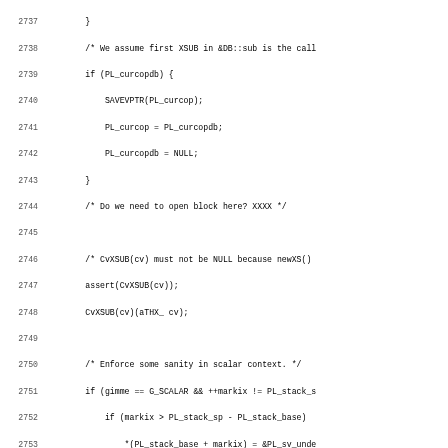Source code listing, lines 2737-2769, C/Perl source code showing XS subroutine dispatch and stack management